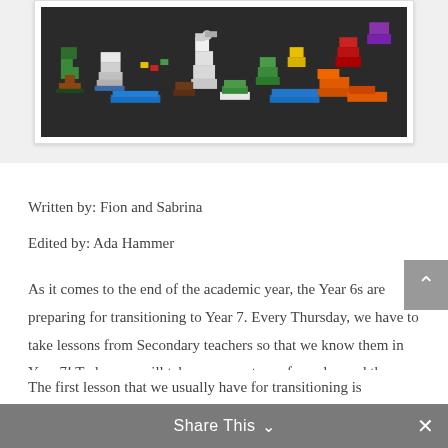[Figure (photo): Photo of colorful LEGO brick constructions arranged on a dark surface, showing various animal and object builds made from multicolored bricks]
Written by: Fion and Sabrina
Edited by: Ada Hammer
As it comes to the end of the academic year, the Year 6s are preparing for transitioning to Year 7. Every Thursday, we have to take lessons from Secondary teachers so that we know them in Year 7! Today, we will take you on a tour of our day and the lessons in them.
The first lesson that we usually have for transitioning is
Share This ∨  ✕